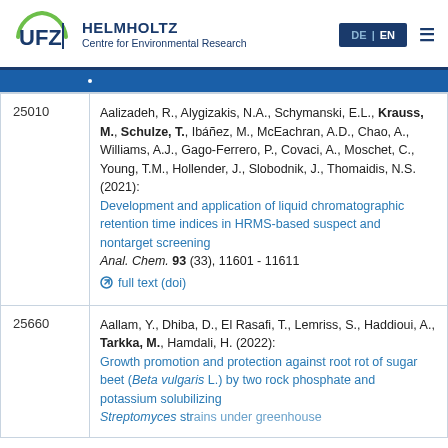[Figure (logo): UFZ Helmholtz Centre for Environmental Research logo with navigation bar showing DE | EN language toggle and hamburger menu]
| ID | Reference |
| --- | --- |
| 25010 | Aalizadeh, R., Alygizakis, N.A., Schymanski, E.L., Krauss, M., Schulze, T., Ibáñez, M., McEachran, A.D., Chao, A., Williams, A.J., Gago-Ferrero, P., Covaci, A., Moschet, C., Young, T.M., Hollender, J., Slobodnik, J., Thomaidis, N.S. (2021): Development and application of liquid chromatographic retention time indices in HRMS-based suspect and nontarget screening. Anal. Chem. 93 (33), 11601 - 11611 | full text (doi) |
| 25660 | Aallam, Y., Dhiba, D., El Rasafi, T., Lemriss, S., Haddioui, A., Tarkka, M., Hamdali, H. (2022): Growth promotion and protection against root rot of sugar beet (Beta vulgaris L.) by two rock phosphate and potassium solubilizing Streptomyces strains under greenhouse |